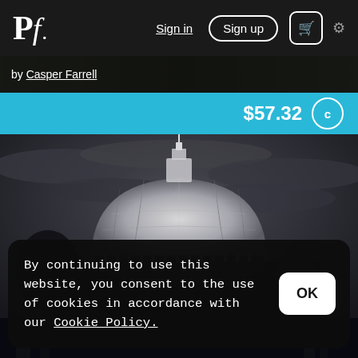Pf. Sign in Sign up [cart] [settings]
by Casper Farrell
$57.32
[Figure (photo): Black and white photograph of a domed building (St Paul's Cathedral) with dramatic cloudy sky, and a sculpture in the foreground]
By continuing to use this website, you consent to the use of cookies in accordance with our Cookie Policy.
OK